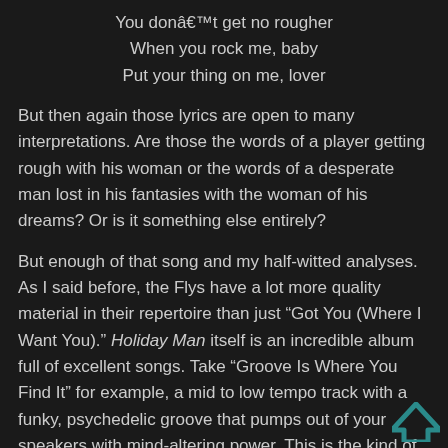You donât get no rougher
When you rock me, baby
Put your thing on me, lover
But then again those lyrics are open to many interpretations. Are those the words of a player getting rough with his woman or the words of a desperate man lost in his fantasies with the woman of his dreams? Or is it something else entirely?
But enough of that song and my half-witted analyses. As I said before, the Flys have a lot more quality material in their repertoire than just “Got You (Where I Want You).” Holiday Man itself is an incredible album full of excellent songs. Take “Groove Is Where You Find It” for example, a mid to low tempo track with a funky, psychedelic groove that pumps out of your speakers with mind-altering power. This is the kind of song that would go well
[Figure (other): Teal/dark cyan upward-pointing chevron arrow in bottom-right corner]